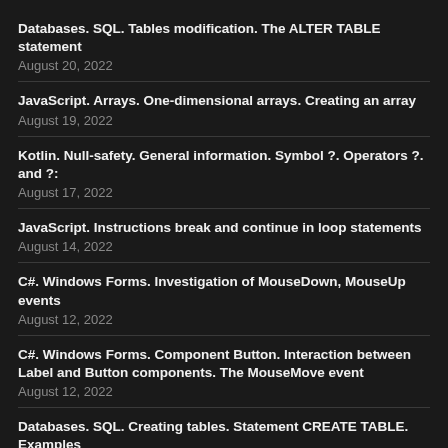Databases. SQL. Tables modification. The ALTER TABLE statement
August 20, 2022
JavaScript. Arrays. One-dimensional arrays. Creating an array
August 19, 2022
Kotlin. Null-safety. General information. Symbol ?. Operators ?. and ?:
August 17, 2022
JavaScript. Instructions break and continue in loop statements
August 14, 2022
C#. Windows Forms. Investigation of MouseDown, MouseUp events
August 12, 2022
C#. Windows Forms. Component Button. Interaction between Label and Button components. The MouseMove event
August 12, 2022
Databases. SQL. Creating tables. Statement CREATE TABLE. Examples
August 9, 2022
Databases. SQL. Microsoft SQL Server Management Studio 18. An example of creating a simple query